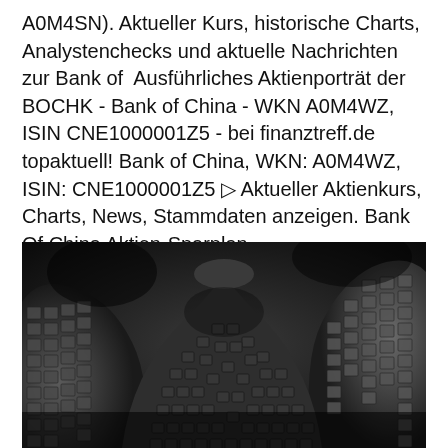A0M4SN). Aktueller Kurs, historische Charts, Analystenchecks und aktuelle Nachrichten zur Bank of  Ausführliches Aktienporträt der BOCHK - Bank of China - WKN A0M4WZ, ISIN CNE1000001Z5 - bei finanztreff.de topaktuell! Bank of China, WKN: A0M4WZ, ISIN: CNE1000001Z5 ▷ Aktueller Aktienkurs, Charts, News, Stammdaten anzeigen. Bank Of China Aktien-Sparplan.
[Figure (photo): Black and white photograph taken from below looking up at architectural arches with ornate coffered/grid-patterned stonework, dramatic dark sky background — appears to be the Arc de Triomphe or similar monumental arch structure.]